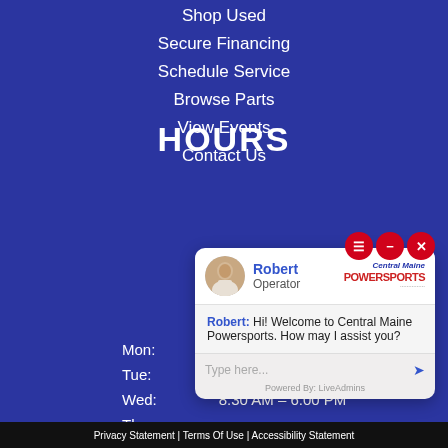Shop Used
Secure Financing
Schedule Service
Browse Parts
View Events
Contact Us
HOURS
| Day | Hours |
| --- | --- |
| Mon: | 8:30 AM – 6:00 PM |
| Tue: | 8:30 AM – 6:00 PM |
| Wed: | 8:30 AM – 6:00 PM |
| Thu: |  |
| Fri: |  |
| Sat: |  |
| Sun: |  |
[Figure (screenshot): Live chat widget with Robert, Operator at Central Maine Powersports. Chat bubble says: 'Hi! Welcome to Central Maine Powersports. How may I assist you?' Input field reads 'Type here...' Powered By: LiveAdmins]
Privacy Statement | Terms Of Use | Accessibility Statement